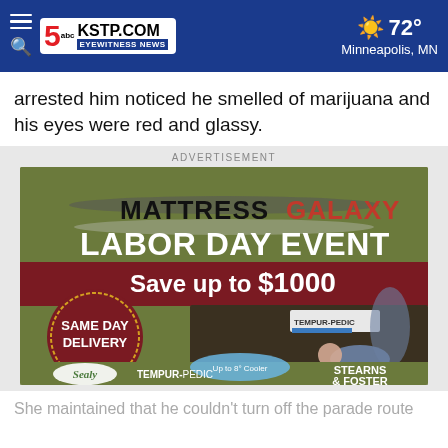KSTP.COM EYEWITNESS NEWS | 72° Minneapolis, MN
arrested him noticed he smelled of marijuana and his eyes were red and glassy.
[Figure (infographic): Mattress Galaxy Labor Day Event advertisement. Save up to $1000. Same Day Delivery. Features Sealy, Tempur-Pedic, Stearns & Foster brands. Image of baby sleeping on mattress.]
She maintained that he couldn't turn off the parade route